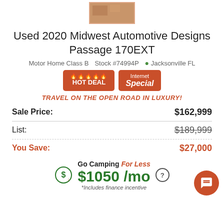[Figure (photo): Partial thumbnail image of a motor home interior/exterior, orange-toned]
Used 2020 Midwest Automotive Designs Passage 170EXT
Motor Home Class B   Stock #74994P   Jacksonville FL
[Figure (infographic): HOT DEAL badge with flame icons and Internet Special badge, both in orange/red]
TRAVEL ON THE OPEN ROAD IN LUXURY!
| Label | Price |
| --- | --- |
| Sale Price: | $162,999 |
| List: | $189,999 |
| You Save: | $27,000 |
Go Camping For Less $1050 /mo *Includes finance incentive